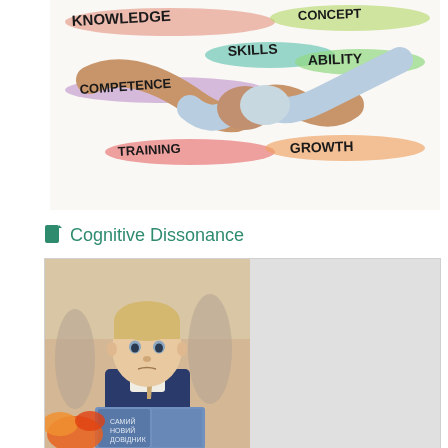[Figure (illustration): Illustration of two hands shaking with colorful painted words: KNOWLEDGE, SKILLS, ABILITY, COMPETENCE, TRAINING, GROWTH written on the arms/hands in handwritten style with colored crayon/paint strokes]
Cognitive Dissonance
[Figure (photo): Photo of a young school-age boy in a navy blue school uniform vest and white shirt with a tie, holding a book with flowers visible in the foreground, in a school setting with other students blurred in the background]